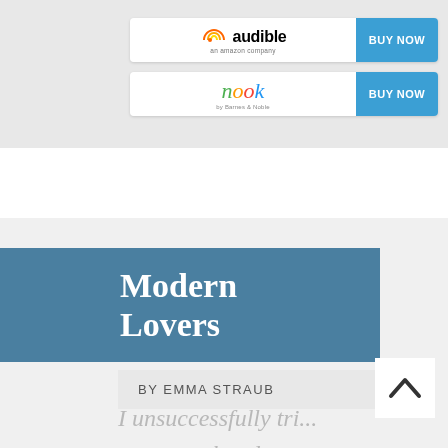[Figure (screenshot): Audible 'BUY NOW' button widget with Audible logo on white background and blue BUY NOW button]
[Figure (screenshot): Nook 'BUY NOW' button widget with Nook logo on white background and blue BUY NOW button]
Modern Lovers
BY EMMA STRAUB
I unsuccessfully tri... to get my hands on this one to vet it for